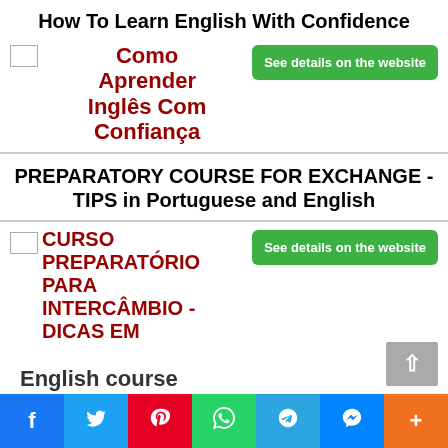How To Learn English With Confidence
[Figure (illustration): Small broken image placeholder icon on left; red bold Portuguese text 'Como Aprender Inglês Com Confiança'; green button 'See details on the website' on right]
PREPARATORY COURSE FOR EXCHANGE - TIPS in Portuguese and English
[Figure (illustration): Small broken image placeholder icon on left; red bold Portuguese text 'CURSO PREPARATÓRIO PARA INTERCÂMBIO - DICAS EM'; green button 'See details on the website' on right; 'English course' text and scroll-to-top button]
Facebook | Twitter | Pinterest | WhatsApp | Telegram | Messenger | More